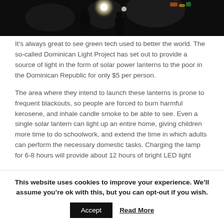[Figure (photo): Dark nighttime photo with bright light source visible, appears to be people at night with a lamp or headlight]
It’s always great to see green tech used to better the world. The so-called Dominican Light Project has set out to provide a source of light in the form of solar power lanterns to the poor in the Dominican Republic for only $5 per person.
The area where they intend to launch these lanterns is prone to frequent blackouts, so people are forced to burn harmful kerosene, and inhale candle smoke to be able to see. Even a single solar lantern can light up an entire home, giving children more time to do schoolwork, and extend the time in which adults can perform the necessary domestic tasks. Charging the lamp for 6-8 hours will provide about 12 hours of bright LED light...
This website uses cookies to improve your experience. We’ll assume you’re ok with this, but you can opt-out if you wish.